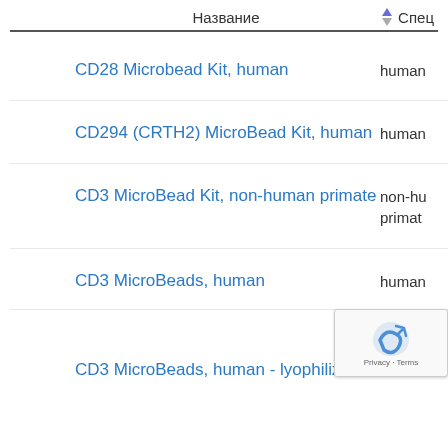Название   Спец
CD28 Microbead Kit, human
CD294 (CRTH2) MicroBead Kit, human
CD3 MicroBead Kit, non-human primate
CD3 MicroBeads, human
CD3 MicroBeads, human - lyophilized